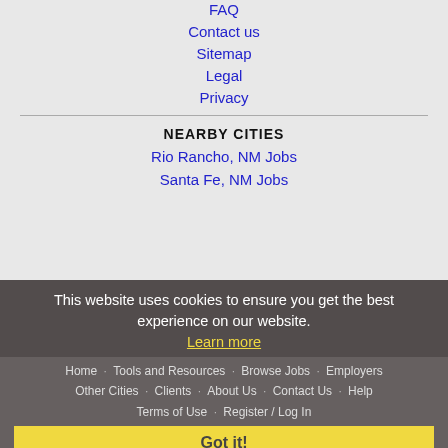FAQ
Contact us
Sitemap
Legal
Privacy
NEARBY CITIES
Rio Rancho, NM Jobs
Santa Fe, NM Jobs
This website uses cookies to ensure you get the best experience on our website.
Learn more
Home · Tools and Resources · Browse Jobs · Employers · Other Cities · Clients · About Us · Contact Us · Help · Terms of Use · Register / Log In
Got it!
Copyright © 2001 - 2022 Recruiter Media Corporation - Albuquerque Jobs